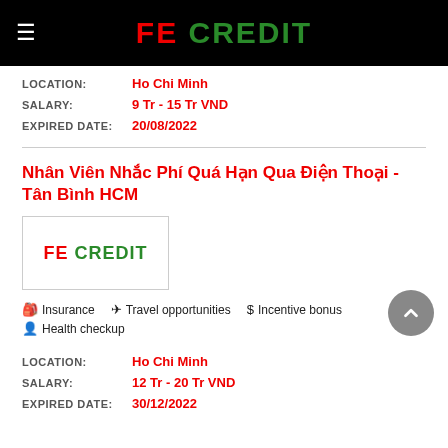FE CREDIT
LOCATION: Ho Chi Minh
SALARY: 9 Tr - 15 Tr VND
EXPIRED DATE: 20/08/2022
Nhân Viên Nhắc Phí Quá Hạn Qua Điện Thoại - Tân Bình HCM
[Figure (logo): FE CREDIT logo in a bordered rectangle]
Insurance
Travel opportunities
Incentive bonus
Health checkup
LOCATION: Ho Chi Minh
SALARY: 12 Tr - 20 Tr VND
EXPIRED DATE: 30/12/2022